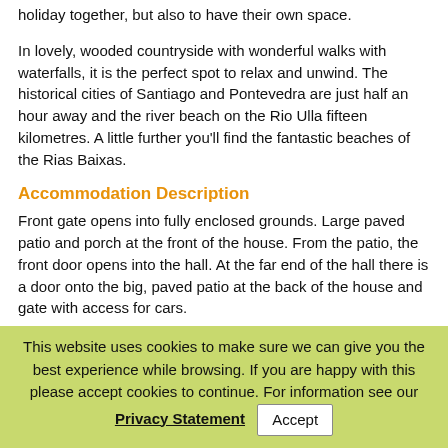holiday together, but also to have their own space.
In lovely, wooded countryside with wonderful walks with waterfalls, it is the perfect spot to relax and unwind. The historical cities of Santiago and Pontevedra are just half an hour away and the river beach on the Rio Ulla fifteen kilometres. A little further you'll find the fantastic beaches of the Rias Baixas.
Accommodation Description
Front gate opens into fully enclosed grounds. Large paved patio and porch at the front of the house. From the patio, the front door opens into the hall. At the far end of the hall there is a door onto the big, paved patio at the back of the house and gate with access for cars.
From one side of the hall to the fully fitted kitchen/diner and door to the back terrace with comfortable garden furniture. From the other side of the hall to the sitting room with an open fireplace and stairs up to the first floor and landing.
Off landing to three bedrooms (one double, one double and one with
This website uses cookies to make sure we can give you the best experience while browsing. If you are happy with this please accept cookies to continue. For information see our Privacy Statement  Accept